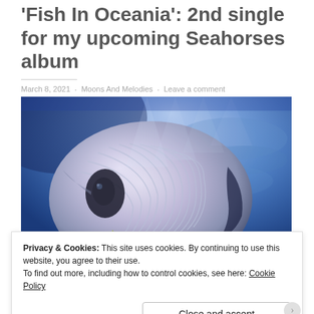'Fish In Oceania': 2nd single for my upcoming Seahorses album
March 8, 2021 · Moons And Melodies · Leave a comment
[Figure (photo): Close-up underwater photograph of a tropical fish (butterflyfish) with blue/purple water and light rays in the background]
Privacy & Cookies: This site uses cookies. By continuing to use this website, you agree to their use.
To find out more, including how to control cookies, see here: Cookie Policy
Close and accept